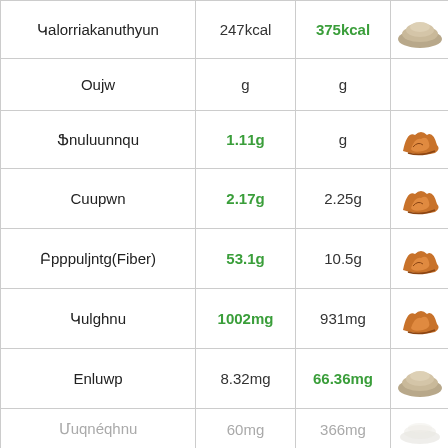| Nutrient | Value 1 | Value 2 | Image |
| --- | --- | --- | --- |
| Կալորրիականությuun | 247kcal | 375kcal |  |
| Ouuw | g | g |  |
| Ֆruluunnqu | 1.11g | g |  |
| Cuupwn | 2.17g | 2.25g |  |
| Բջջanyntg(Fiber) | 53.1g | 10.5g |  |
| Կulghnu | 1002mg | 931mg |  |
| Enluwp | 8.32mg | 66.36mg |  |
| Մuqnéqhnu | 60mg | 366mg |  |